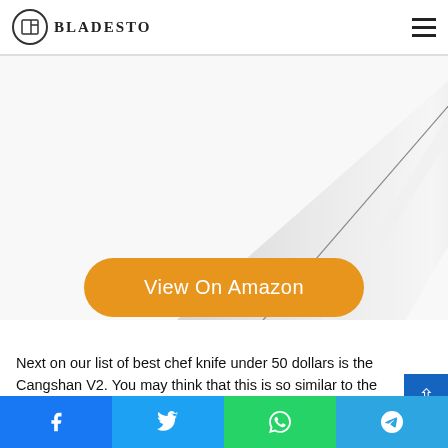BLADESTO
[Figure (photo): Close-up of a chef knife blade at an angle on white background]
View On Amazon
Next on our list of best chef knife under 50 dollars is the Cangshan V2. You may think that this is so similar to the